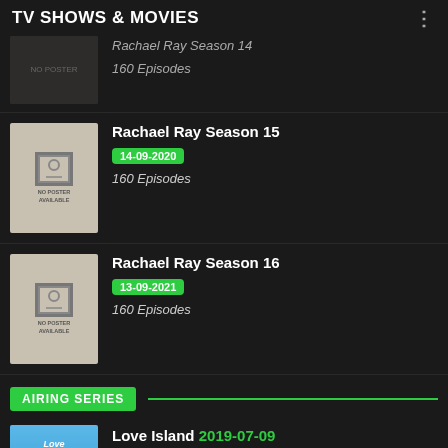TV SHOWS & MOVIES
Rachael Ray Season 14 — 160 Episodes
Rachael Ray Season 15 · 14-09-2020 · 160 Episodes
Rachael Ray Season 16 · 13-09-2021 · 160 Episodes
AIRING SERIES
Love Island 2019-07-09 · ★ 7 · ♥ 53 Likes
The Secret House 2022-04-11 · ★ 6.5